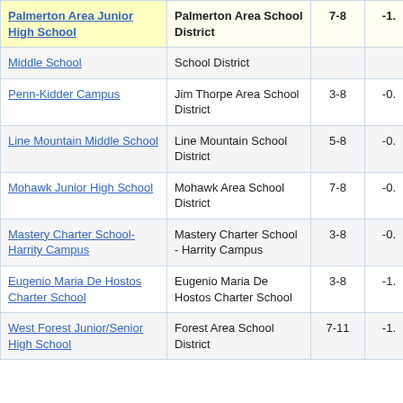| School | District | Grades | Score |
| --- | --- | --- | --- |
| Palmerton Area Junior High School | Palmerton Area School District | 7-8 | -1. |
| Middle School | School District |  |  |
| Penn-Kidder Campus | Jim Thorpe Area School District | 3-8 | -0. |
| Line Mountain Middle School | Line Mountain School District | 5-8 | -0. |
| Mohawk Junior High School | Mohawk Area School District | 7-8 | -0. |
| Mastery Charter School-Harrity Campus | Mastery Charter School - Harrity Campus | 3-8 | -0. |
| Eugenio Maria De Hostos Charter School | Eugenio Maria De Hostos Charter School | 3-8 | -1. |
| West Forest Junior/Senior High School | Forest Area School District | 7-11 | -1. |